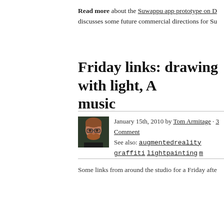Read more about the Suwappu app prototype on D discusses some future commercial directions for Su
Friday links: drawing with light, A music
January 15th, 2010 by Tom Armitage · 3 Comment See also: augmentedreality graffiti lightpainting m
[Figure (photo): Headshot of Tom Armitage, a man with reddish-brown hair and beard wearing glasses, against a dark background.]
Some links from around the studio for a Friday afte